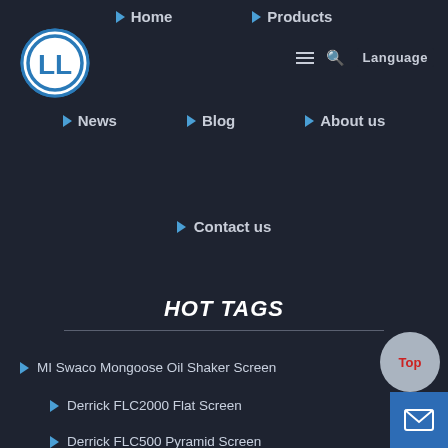[Figure (logo): Circular logo with 'LL' letters in blue and white]
Home | Products | News | Blog | About us | Contact us | Language
HOT TAGS
MI Swaco Mongoose Oil Shaker Screen
Derrick FLC2000 Flat Screen
Derrick FLC500 Pyramid Screen
Brandt VSM Multi-sizer Primary Shale Shaker Screen
NOV Brandt VSM Multi-sizer Primary Shaker Screen